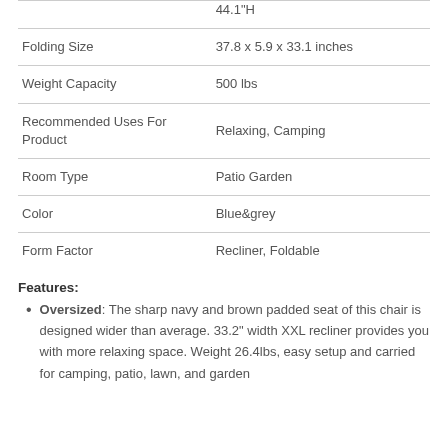| Attribute | Value |
| --- | --- |
|  | 44.1"H |
| Folding Size | 37.8 x 5.9 x 33.1 inches |
| Weight Capacity | 500 lbs |
| Recommended Uses For Product | Relaxing, Camping |
| Room Type | Patio Garden |
| Color | Blue&grey |
| Form Factor | Recliner, Foldable |
Features:
Oversized: The sharp navy and brown padded seat of this chair is designed wider than average. 33.2" width XXL recliner provides you with more relaxing space. Weight 26.4lbs, easy setup and carried for camping, patio, lawn, and garden